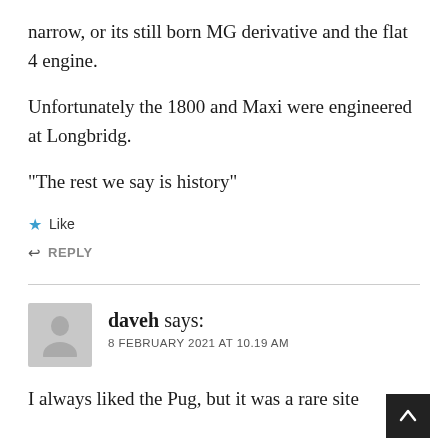narrow, or its still born MG derivative and the flat 4 engine.
Unfortunately the 1800 and Maxi were engineered at Longbridg.
“The rest we say is history”
★ Like
↩ REPLY
daveh says:
8 FEBRUARY 2021 AT 10.19 AM
I always liked the Pug, but it was a rare site